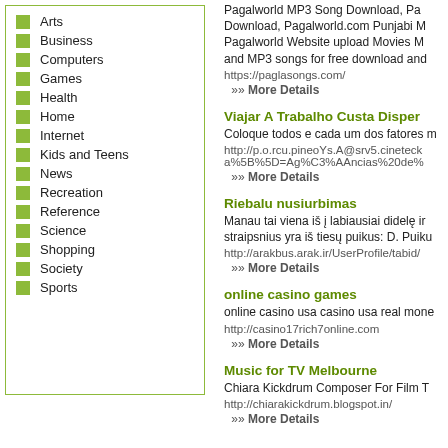Arts
Business
Computers
Games
Health
Home
Internet
Kids and Teens
News
Recreation
Reference
Science
Shopping
Society
Sports
Pagalworld MP3 Song Download, Pa Download, Pagalworld.com Punjabi M Pagalworld Website upload Movies M and MP3 songs for free download and
https://paglasongs.com/
»» More Details
Viajar A Trabalho Custa Disper
Coloque todos e cada um dos fatores m
http://p.o.rcu.pineoYs.A@srv5.cineteck a%5B%5D=Ag%C3%AAncias%20de%
»» More Details
Riebalu nusiurbimas
Manau tai viena iš į labiausiai didelę ir straipsnius yra iš tiesų puikus: D. Puiku
http://arakbus.arak.ir/UserProfile/tabid/
»» More Details
online casino games
online casino usa casino usa real mone
http://casino17rich7online.com
»» More Details
Music for TV Melbourne
Chiara Kickdrum Composer For Film T
http://chiarakickdrum.blogspot.in/
»» More Details